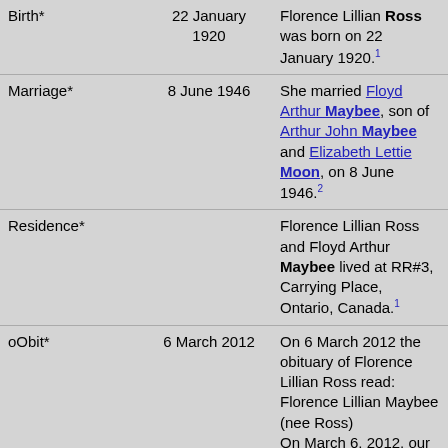| Event | Date | Description |
| --- | --- | --- |
| Birth* | 22 January 1920 | Florence Lillian Ross was born on 22 January 1920.1 |
| Marriage* | 8 June 1946 | She married Floyd Arthur Maybee, son of Arthur John Maybee and Elizabeth Lettie Moon, on 8 June 1946.2 |
| Residence* |  | Florence Lillian Ross and Floyd Arthur Maybee lived at RR#3, Carrying Place, Ontario, Canada.1 |
| oObit* | 6 March 2012 | On 6 March 2012 the obituary of Florence Lillian Ross read: Florence Lillian Maybee (nee Ross) On March 6, 2012, our mother Florence died peacefully with her family by her side at Lakeshore Lodge in |